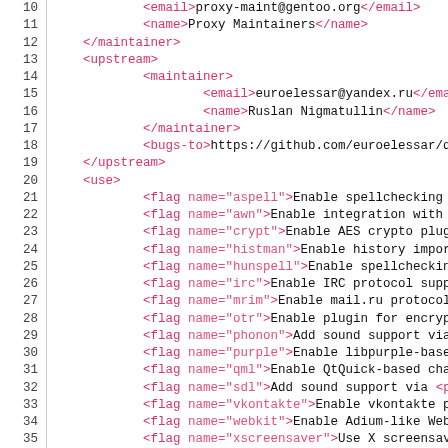Code listing showing XML metadata file content, lines 10-39, with XML tags for email, name, maintainer, upstream, bugs-to, use, and flag elements with various name attributes.